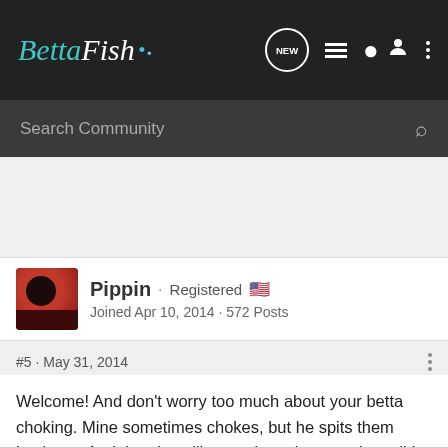BettaFish · NEW · [list icon] · [user icon] · [more icon]
Search Community
Pippin · Registered 🇺🇸
Joined Apr 10, 2014 · 572 Posts
#5 · May 31, 2014
Welcome! And don't worry too much about your betta choking. Mine sometimes chokes, but he spits them back out. And then he will try and eat them again until I can scoop the pellets up.